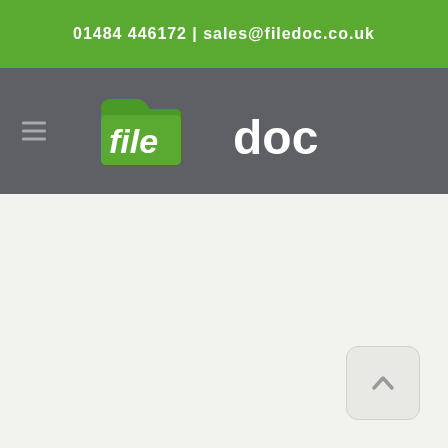01484 446172 | sales@filedoc.co.uk
[Figure (logo): Filedoc logo with green folder icon and text 'file' in green and 'doc' in white on dark grey navigation bar]
[Figure (other): Scroll-to-top button with upward chevron arrow in light grey rounded square, positioned bottom right of content area]